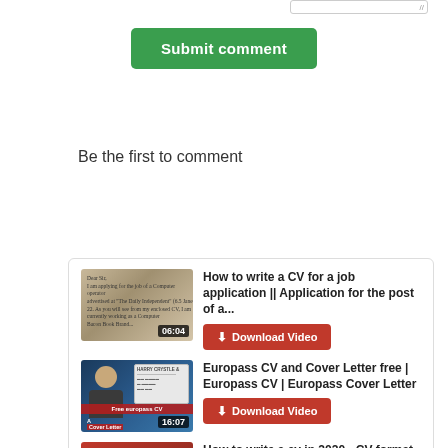[Figure (screenshot): Green Submit comment button on white background]
Be the first to comment
[Figure (screenshot): Video card with two video items: 'How to write a CV for a job application || Application for the post of a...' (06:04) and 'Europass CV and Cover Letter free | Europass CV | Europass Cover Letter' (16:07), each with a red Download Video button. Partially visible third item 'How to write a cv in 2020 - CV format'.]